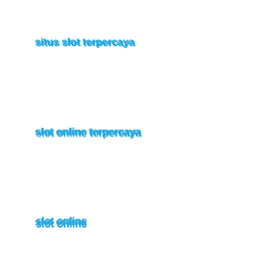situs slot terpercaya
slot online terpercaya
slot online
slot gacor
slot77
slot-gacor.vip
judi slot online